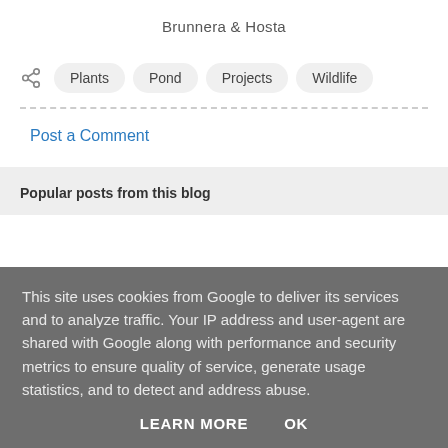Brunnera & Hosta
Plants
Pond
Projects
Wildlife
Post a Comment
Popular posts from this blog
This site uses cookies from Google to deliver its services and to analyze traffic. Your IP address and user-agent are shared with Google along with performance and security metrics to ensure quality of service, generate usage statistics, and to detect and address abuse.
LEARN MORE   OK